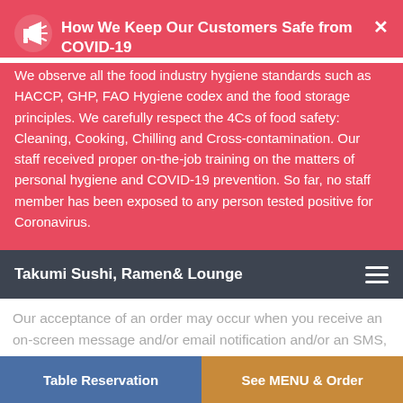How We Keep Our Customers Safe from COVID-19
We observe all the food industry hygiene standards such as HACCP, GHP, FAO Hygiene codex and the food storage principles. We carefully respect the 4Cs of food safety: Cleaning, Cooking, Chilling and Cross-contamination. Our staff received proper on-the-job training on the matters of personal hygiene and COVID-19 prevention. So far, no staff member has been exposed to any person tested positive for Coronavirus.
Takumi Sushi, Ramen& Lounge
Our acceptance of an order may occur when you receive an on-screen message and/or email notification and/or an SMS, confirming your order.
The Restaurant reserves the right to refuse any service, terminate your access to the online ordering application and/or process, remove or edit any content or accept your
Table Reservation | See MENU & Order